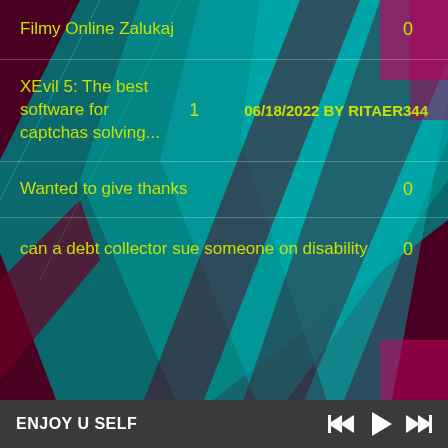[Figure (screenshot): Dark background with teal geometric angular shapes forming a stylized visual backdrop for a website listing]
Filmy Online Zalukaj
0
XEvil 5: The best software for captchas solving...
1
06/18/2022 BY RITAER344
Wanted to give thanks
0
can a debt collector sue someone on disability
0
ENJOY U SELF